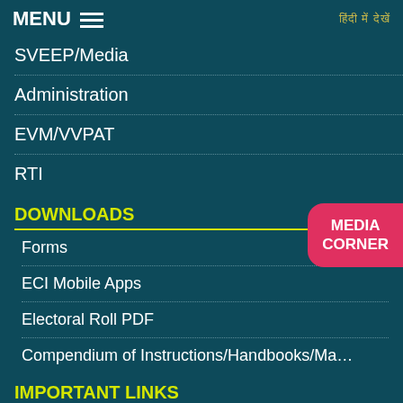MENU  ☰   हिंदी में देखें
SVEEP/Media
Administration
EVM/VVPAT
RTI
DOWNLOADS
Forms
ECI Mobile Apps
Electoral Roll PDF
Compendium of Instructions/Handbooks/Ma…
IMPORTANT LINKS
Election Commission of India